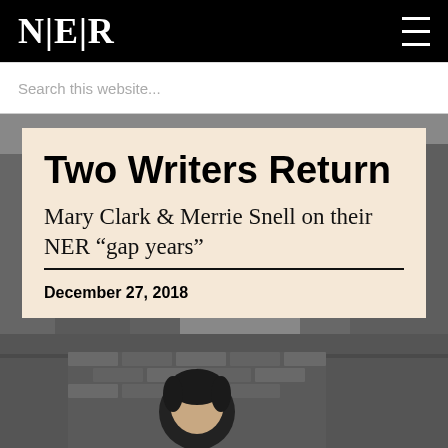NER
Search this website...
Two Writers Return
Mary Clark & Merrie Snell on their NER “gap years”
December 27, 2018
[Figure (photo): Black and white photograph of a person with dark hair in front of a brick wall]